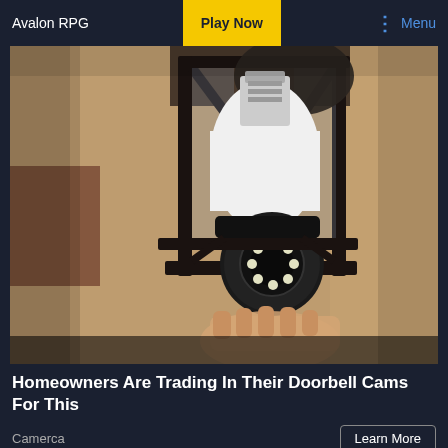Avalon RPG | Play Now | Menu
[Figure (photo): A security camera shaped like a light bulb installed inside an outdoor lantern-style wall light fixture mounted on a textured stucco wall. A hand is visible installing or adjusting the camera bulb.]
Homeowners Are Trading In Their Doorbell Cams For This
Camerca
Learn More